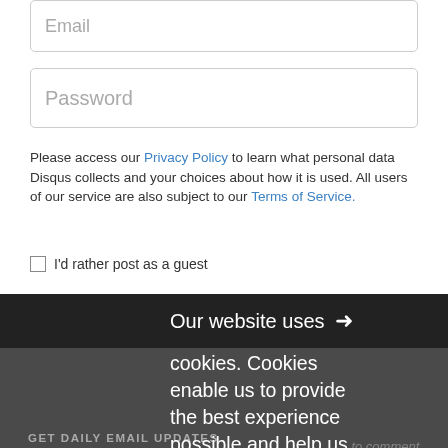Email
Password
Please access our Privacy Policy to learn what personal data Disqus collects and your choices about how it is used. All users of our service are also subject to our Terms of Service.
I'd rather post as a guest
Our website uses cookies. Cookies enable us to provide the best experience possible and help us understand how visitors use our website. By browsing bankinfosecurity.com, you agree to our use of cookies.
to comment.
Subscribe   Add Disqus   Do Not Sell My Data   DISQUS
GET DAILY EMAIL UPDATES